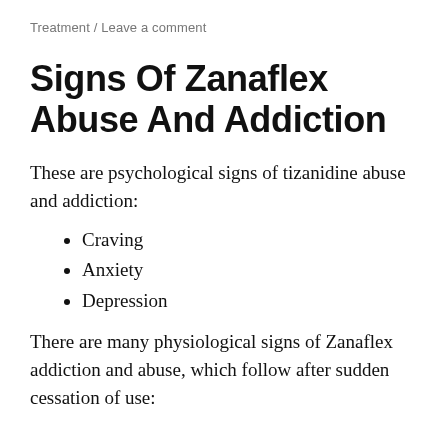Treatment / Leave a comment
Signs Of Zanaflex Abuse And Addiction
These are psychological signs of tizanidine abuse and addiction:
Craving
Anxiety
Depression
There are many physiological signs of Zanaflex addiction and abuse, which follow after sudden cessation of use: